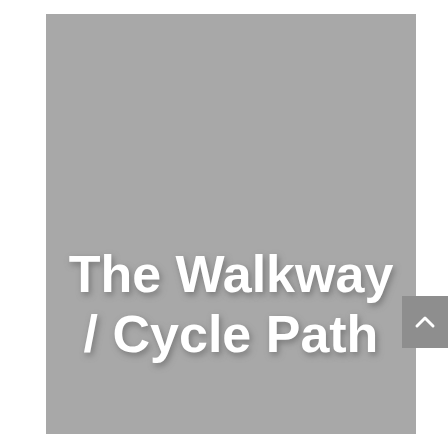[Figure (photo): Large grey/neutral colored rectangular image placeholder with 'The Walkway / Cycle Path' title text overlaid in white bold font near the lower-center of the image. A small scroll-up button with an upward chevron is visible on the right side of the page.]
The Walkway / Cycle Path